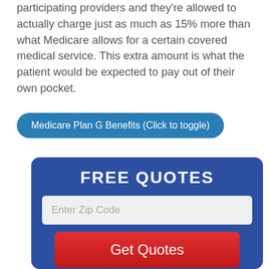participating providers and they're allowed to actually charge just as much as 15% more than what Medicare allows for a certain covered medical service. This extra amount is what the patient would be expected to pay out of their own pocket.
Medicare Plan G Benefits (Click to toggle)
[Figure (infographic): Blue box with FREE QUOTES heading, an Enter Zip Code input field, a red Get Quotes button, and checklist items: Top A-Rated Carriers, Expert, No-Hassle Agent Assistance]